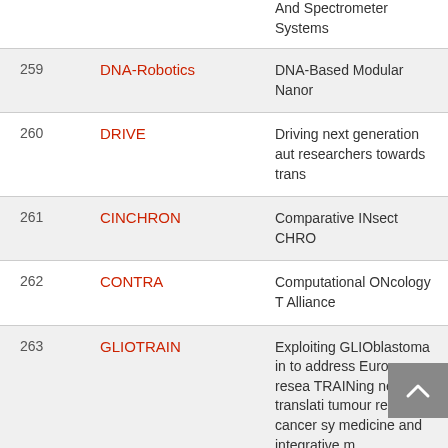| # | Name | Description |
| --- | --- | --- |
|  |  | And Spectrometer Systems |
| 259 | DNA-Robotics | DNA-Based Modular Nanor |
| 260 | DRIVE | Driving next generation aut researchers towards trans |
| 261 | CINCHRON | Comparative INsect CHRO |
| 262 | CONTRA | Computational ONcology T Alliance |
| 263 | GLIOTRAIN | Exploiting GLIOblastoma in to address European resea TRAINing needs in translati tumour research, cancer sy medicine and integrative m |
| 264 | DeLIVER | Super-resolution optical mi nanosized pore dynamics in cells |